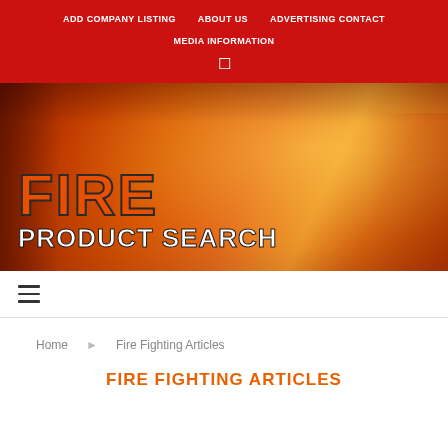ADD COMPANY LISTING  ABOUT US  ADVERTISING CONTACT  MEDIA INFORMATION
[Figure (photo): Hero banner image of a firefighter in orange gear against a fiery background with 'FIRE PRODUCT SEARCH' logo text overlay]
≡
Home  Fire Fighting Articles
FIRE FIGHTING ARTICLES